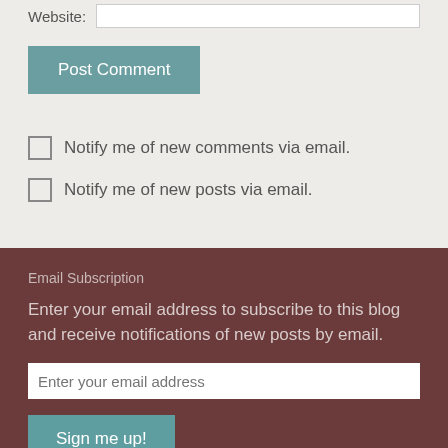Website:
Post Comment
Notify me of new comments via email.
Notify me of new posts via email.
Email Subscription
Enter your email address to subscribe to this blog and receive notifications of new posts by email.
Enter your email address
Sign me up!
Join 52 other followers